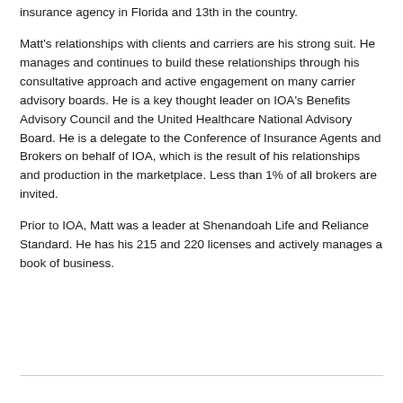insurance agency in Florida and 13th in the country.
Matt's relationships with clients and carriers are his strong suit. He manages and continues to build these relationships through his consultative approach and active engagement on many carrier advisory boards. He is a key thought leader on IOA's Benefits Advisory Council and the United Healthcare National Advisory Board. He is a delegate to the Conference of Insurance Agents and Brokers on behalf of IOA, which is the result of his relationships and production in the marketplace. Less than 1% of all brokers are invited.
Prior to IOA, Matt was a leader at Shenandoah Life and Reliance Standard. He has his 215 and 220 licenses and actively manages a book of business.